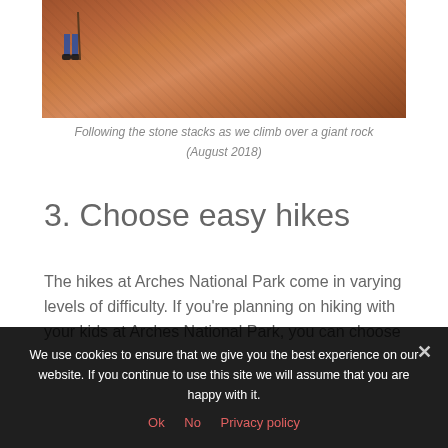[Figure (photo): Photo of a hiker's legs and shoes on a large reddish rock surface at Arches National Park, August 2018]
Following the stone stacks as we climb over a giant rock (August 2018)
3. Choose easy hikes
The hikes at Arches National Park come in varying levels of difficulty. If you're planning on hiking with your kids at Arches National Park, you can choose
We use cookies to ensure that we give you the best experience on our website. If you continue to use this site we will assume that you are happy with it.
Ok  No  Privacy policy